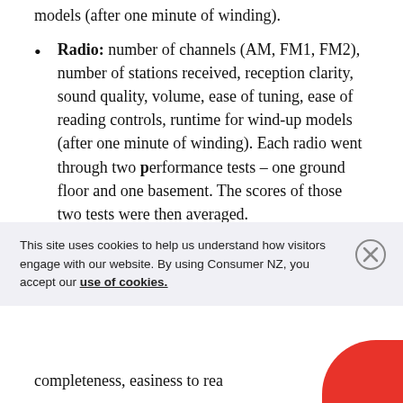models (after one minute of winding).
Radio: number of channels (AM, FM1, FM2), number of stations received, reception clarity, sound quality, volume, ease of tuning, ease of reading controls, runtime for wind-up models (after one minute of winding). Each radio went through two performance tests – one ground floor and one basement. The scores of those two tests were then averaged.
First aid kit: range of pieces including sizes,
This site uses cookies to help us understand how visitors engage with our website. By using Consumer NZ, you accept our use of cookies.
completeness, easiness to rea